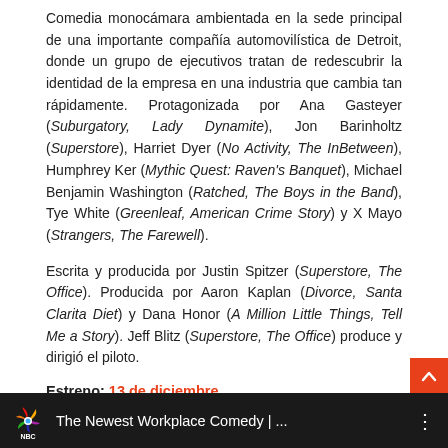Comedia monocámara ambientada en la sede principal de una importante compañía automovilística de Detroit, donde un grupo de ejecutivos tratan de redescubrir la identidad de la empresa en una industria que cambia tan rápidamente. Protagonizada por Ana Gasteyer (Suburgatory, Lady Dynamite), Jon Barinholtz (Superstore), Harriet Dyer (No Activity, The InBetween), Humphrey Ker (Mythic Quest: Raven's Banquet), Michael Benjamin Washington (Ratched, The Boys in the Band), Tye White (Greenleaf, American Crime Story) y X Mayo (Strangers, The Farewell).
Escrita y producida por Justin Spitzer (Superstore, The Office). Producida por Aaron Kaplan (Divorce, Santa Clarita Diet) y Dana Honor (A Million Little Things, Tell Me a Story). Jeff Blitz (Superstore, The Office) produce y dirigió el piloto.
Estreno: 13 de diciembre
[Figure (screenshot): NBC video thumbnail bar showing NBC peacock logo and text 'The Newest Workplace Comedy | ...' with three dots menu icon on dark background]